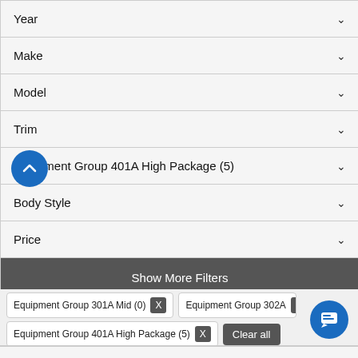Year ▾
Make ▾
Model ▾
Trim ▾
Equipment Group 401A High Package (5) ▾
Body Style ▾
Price ▾
Show More Filters
Sort by Year: Newest to Oldest ▾
Equipment Group 301A Mid (0)  X   Equipment Group 302A...
Equipment Group 401A High Package (5)  X   Clear all